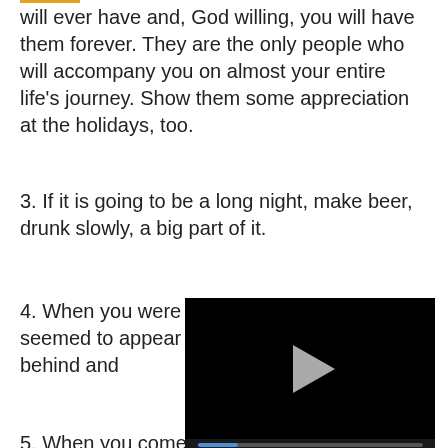will ever have and, God willing, you will have them forever. They are the only people who will accompany you on almost your entire life's journey. Show them some appreciation at the holidays, too.
3. If it is going to be a long night, make beer, drunk slowly, a big part of it.
4. When you were a child, holiday meals seemed to appear by magic. N... off your behind and...
5. When you come... realize how much y... want to spend every minute of your short stay with them and come away hoping that you will be close forever. Do not forget your parents feel the same
[Figure (other): Embedded video player overlay showing a black video frame with a play button, progress bar at 02:13, and controls including mute, time, grid, settings, and expand icons.]